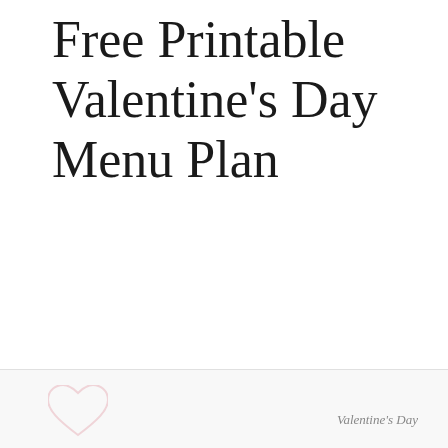Free Printable Valentine's Day Menu Plan
Valentine's Day